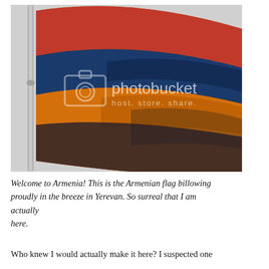[Figure (photo): Close-up photograph of the Armenian tricolor flag (red, blue, and orange horizontal stripes) billowing in the wind against a gray sky, with a flagpole visible on the left. A Photobucket watermark reading 'photobucket host. store. share.' is overlaid on the image.]
Welcome to Armenia! This is the Armenian flag billowing proudly in the breeze in Yerevan. So surreal that I am actually here.
Who knew I would actually make it here? I suspected one